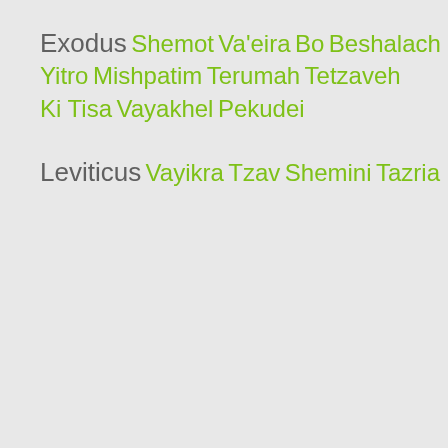Exodus
Shemot
Va'eira
Bo
Beshalach
Yitro
Mishpatim
Terumah
Tetzaveh
Ki Tisa
Vayakhel
Pekudei
Leviticus
Vayikra
Tzav
Shemini
Tazria